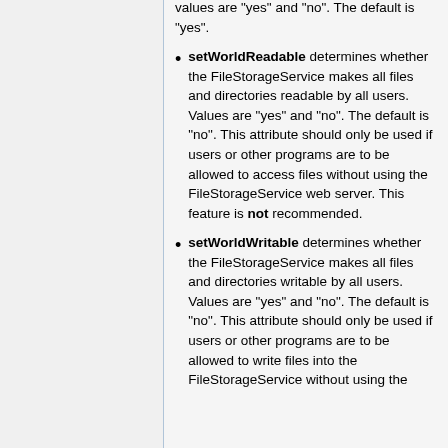Values are "yes" and "no". The default is "yes".
setWorldReadable determines whether the FileStorageService makes all files and directories readable by all users. Values are "yes" and "no". The default is "no". This attribute should only be used if users or other programs are to be allowed to access files without using the FileStorageService web server. This feature is not recommended.
setWorldWritable determines whether the FileStorageService makes all files and directories writable by all users. Values are "yes" and "no". The default is "no". This attribute should only be used if users or other programs are to be allowed to write files into the FileStorageService without using the